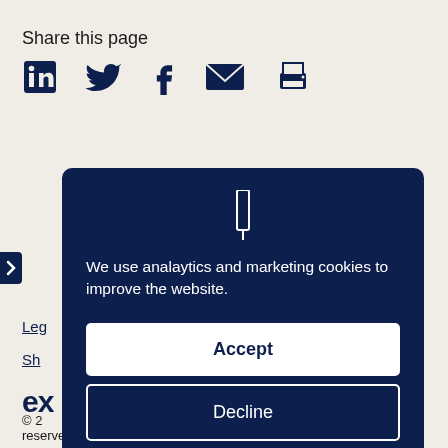Share this page
[Figure (infographic): Social sharing icons: LinkedIn, Twitter, Facebook, Email, Print]
[Figure (infographic): Cookie consent modal with dark navy background. Contains a cookie icon, text 'We use analaytics and marketing cookies to improve the website.', an Accept button, a Decline button, and a Settings text link.]
Leg
Sh
ex
© 2                                                                                                    s reserved.